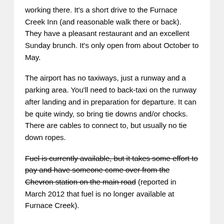working there. It's a short drive to the Furnace Creek Inn (and reasonable walk there or back). They have a pleasant restaurant and an excellent Sunday brunch. It's only open from about October to May.
The airport has no taxiways, just a runway and a parking area. You'll need to back-taxi on the runway after landing and in preparation for departure. It can be quite windy, so bring tie downs and/or chocks. There are cables to connect to, but usually no tie down ropes.
Fuel is currently available, but it takes some effort to pay and have someone come over from the Chevron station on the main road (reported in March 2012 that fuel is no longer available at Furnace Creek).
Notes:
Remember that VFR flights may legally enter MOAs. I would however recommend flight following or confirming that the MOAs are "cold".